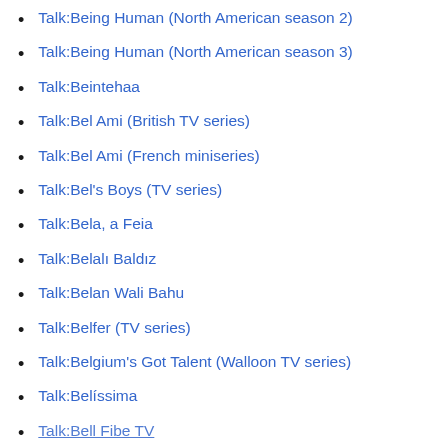Talk:Being Human (North American season 2)
Talk:Being Human (North American season 3)
Talk:Beintehaa
Talk:Bel Ami (British TV series)
Talk:Bel Ami (French miniseries)
Talk:Bel's Boys (TV series)
Talk:Bela, a Feia
Talk:Belalı Baldız
Talk:Belan Wali Bahu
Talk:Belfer (TV series)
Talk:Belgium's Got Talent (Walloon TV series)
Talk:Belíssima
Talk:Bell Fibe TV